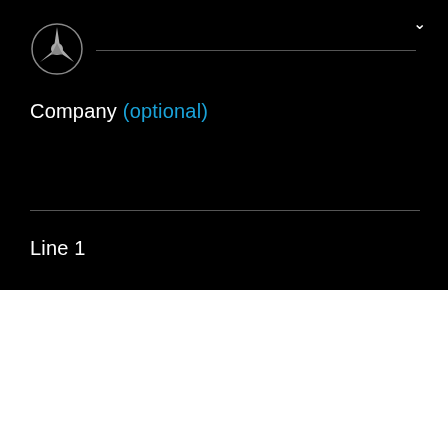[Figure (logo): Mercedes-Benz three-pointed star logo in silver on black background]
Company (optional)
Line 1
By clicking “Accept All Cookies”, you agree to the storing of cookies on your device to enhance site navigation, analyze site usage, and assist in our marketing efforts.
Cookies Settings
Accept All Cookies